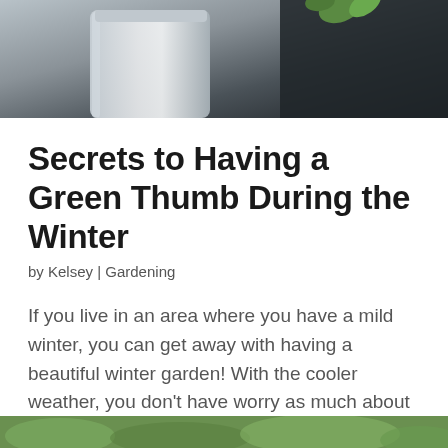[Figure (photo): Top portion of a photo showing what appears to be a metal watering can or pot against a dark background, with a small green plant visible at top right]
Secrets to Having a Green Thumb During the Winter
by Kelsey | Gardening
If you live in an area where you have a mild winter, you can get away with having a beautiful winter garden! With the cooler weather, you don't have worry as much about insects or pests like you do in the hotter months! I am going to share some winter gardening…
[Figure (photo): Bottom partial strip of a photo showing green garden plants or foliage]